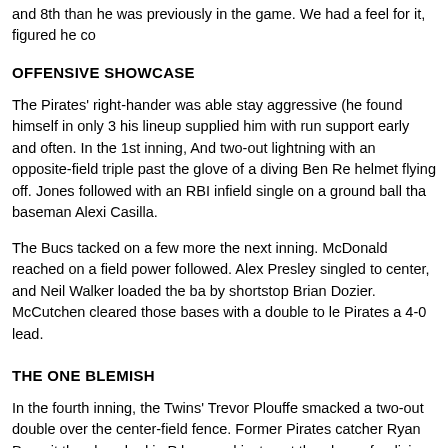and 8th than he was previously in the game. We had a feel for it, figured he co
OFFENSIVE SHOWCASE
The Pirates' right-hander was able stay aggressive (he found himself in only 3 his lineup supplied him with run support early and often. In the 1st inning, And two-out lightning with an opposite-field triple past the glove of a diving Ben Re helmet flying off. Jones followed with an RBI infield single on a ground ball tha baseman Alexi Casilla.
The Bucs tacked on a few more the next inning. McDonald reached on a field power followed. Alex Presley singled to center, and Neil Walker loaded the ba by shortstop Brian Dozier. McCutchen cleared those bases with a double to le Pirates a 4-0 lead.
THE ONE BLEMISH
In the fourth inning, the Twins' Trevor Plouffe smacked a two-out double over the center-field fence. Former Pirates catcher Ryan Doumit then knocked in P bounced just past the glove of a diving Walker to drive in Minnesota's only run